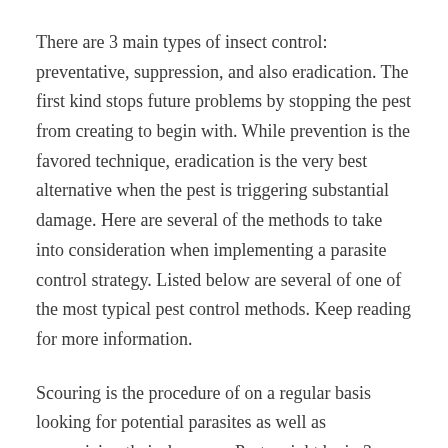There are 3 main types of insect control: preventative, suppression, and also eradication. The first kind stops future problems by stopping the pest from creating to begin with. While prevention is the favored technique, eradication is the very best alternative when the pest is triggering substantial damage. Here are several of the methods to take into consideration when implementing a parasite control strategy. Listed below are several of one of the most typical pest control methods. Keep reading for more information.
Scouring is the procedure of on a regular basis looking for potential parasites as well as recognizing their damages. Pests might be in 3 different classifications: reoccuring, constant, or sporadic. Some bugs may be potential or migratory. If you are unsure of which classification you come under, consult a parasite expert to determine